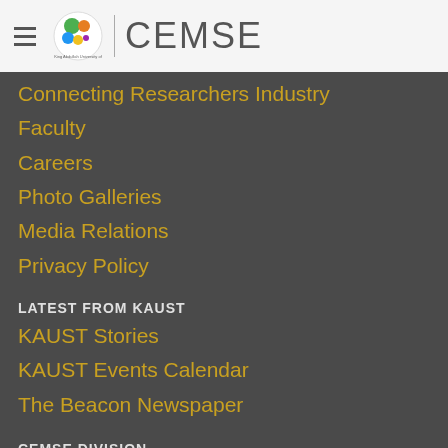CEMSE
Connecting Researchers Industry
Faculty
Careers
Photo Galleries
Media Relations
Privacy Policy
LATEST FROM KAUST
KAUST Stories
KAUST Events Calendar
The Beacon Newspaper
CEMSE DIVISION
Our Videos on YouTube
CEMSE on Facebook
CEMSE on Twitter
Interactive Map
CEMSE Faculty